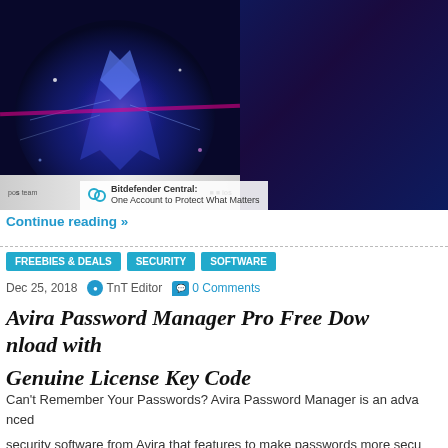[Figure (screenshot): Bitdefender security software product image showing box art with glowing wolf, mobile app interface, and laptop dashboard. Text overlay: 'SECURITY', 'Bitdefender Central: One Account to Protect What Matters']
Continue reading »
FREEBIES & DEALS   SECURITY   SOFTWARE
Dec 25, 2018   TnT Editor   0 Comments
Avira Password Manager Pro Free Download with Genuine License Key Code
Can't Remember Your Passwords? Avira Password Manager is an advanced security software from Avira that features to make passwords more secure, capabilities, instant alerts for stolen personal data, and more.